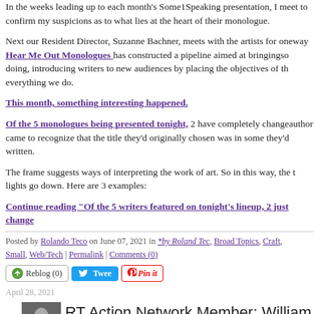In the weeks leading up to each month's Some1Speaking presentation, I meet to confirm my suspicions as to what lies at the heart of their monologue.
Next our Resident Director, Suzanne Bachner, meets with the artists for one way Hear Me Out Monologues has constructed a pipeline aimed at bringing so doing, introducing writers to new audiences by placing the objectives of the everything we do.
This month, something interesting happened.
Of the 5 monologues being presented tonight, 2 have completely changed... author came to recognize that the title they'd originally chosen was in some way they'd written.
The frame suggests ways of interpreting the work of art. So in this way, the title lights go down. Here are 3 examples:
Continue reading "Of the 5 writers featured on tonight's lineup, 2 just changed..."
Posted by Rolando Teco on June 07, 2021 in *by Roland Tec, Broad Topics, Craft, Small, Web/Tech | Permalink | Comments (0)
April 28, 2021
RT Action Network Member: William Ivo...
In early 2020 I began an experiment in mutual cooperation and career accountability, creative folk in my workshops had to contend with a lot of fear, uncertainty, in...